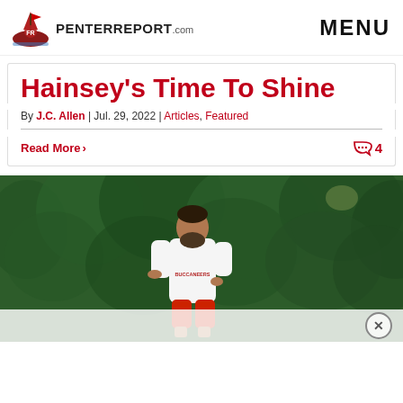PenterReport.com | MENU
Hainsey's Time To Shine
By J.C. Allen | Jul. 29, 2022 | Articles, Featured
Read More > 4
[Figure (photo): Football player in white Buccaneers long-sleeve shirt and red shorts jogging in front of a dense green tree background]